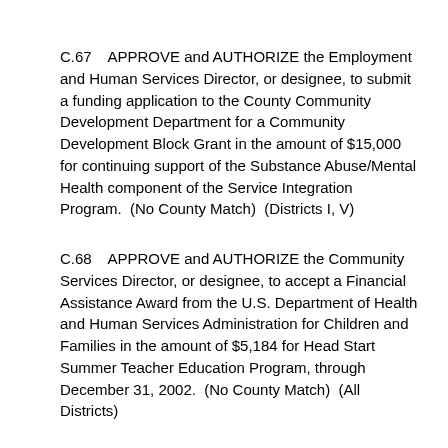C.67    APPROVE and AUTHORIZE the Employment and Human Services Director, or designee, to submit a funding application to the County Community Development Department for a Community Development Block Grant in the amount of $15,000 for continuing support of the Substance Abuse/Mental Health component of the Service Integration Program.  (No County Match)  (Districts I, V)
C.68    APPROVE and AUTHORIZE the Community Services Director, or designee, to accept a Financial Assistance Award from the U.S. Department of Health and Human Services Administration for Children and Families in the amount of $5,184 for Head Start Summer Teacher Education Program, through December 31, 2002.  (No County Match)  (All Districts)